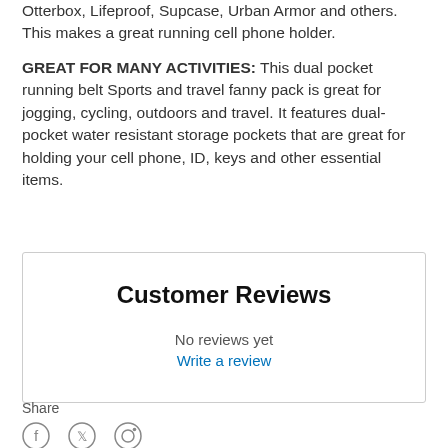Otterbox, Lifeproof, Supcase, Urban Armor and others. This makes a great running cell phone holder.
GREAT FOR MANY ACTIVITIES: This dual pocket running belt Sports and travel fanny pack is great for jogging, cycling, outdoors and travel. It features dual-pocket water resistant storage pockets that are great for holding your cell phone, ID, keys and other essential items.
Customer Reviews
No reviews yet
Write a review
Share